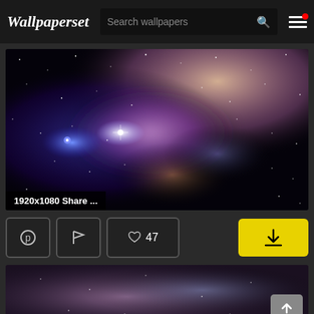Wallpaperset — Search wallpapers
[Figure (screenshot): Dark galaxy/nebula space wallpaper with purple, blue and pink star clusters and cosmic dust clouds on black background. Label: 1920x1080 Share ...]
1920x1080 Share ...
♡ 47
[Figure (screenshot): Partial view of second space wallpaper with soft purple and blue galaxy blur and scattered stars]